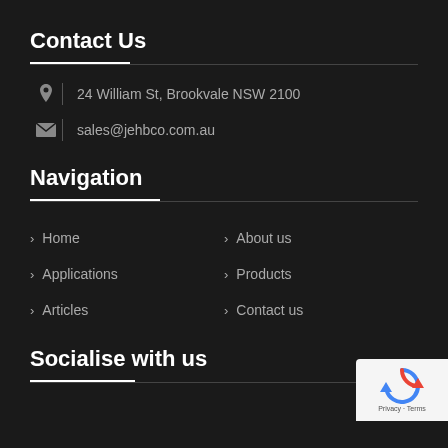Contact Us
24 William St, Brookvale NSW 2100
sales@jehbco.com.au
Navigation
Home
About us
Applications
Products
Articles
Contact us
Socialise with us
[Figure (logo): reCAPTCHA badge with circular arrow logo and Privacy + Terms text]